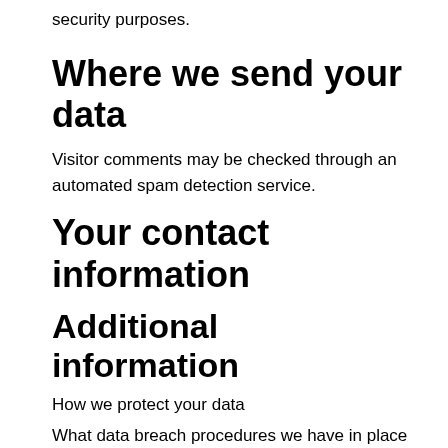security purposes.
Where we send your data
Visitor comments may be checked through an automated spam detection service.
Your contact information
Additional information
How we protect your data
What data breach procedures we have in place
What third parties we receive data from